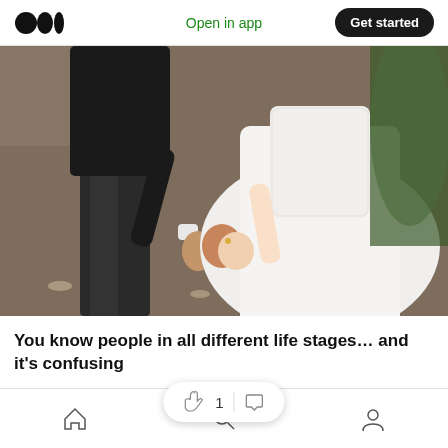Medium logo | Open in app | Get started
[Figure (photo): Wedding photo showing a couple holding hands, the man in a black suit and the woman in a white wedding dress, walking together.]
You know people in all different life stages… and it's confusing
This isn't a compl… but on the
Home | Search | Profile navigation icons